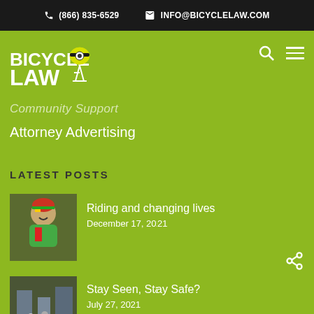(866) 835-6529   INFO@BICYCLELAW.COM
[Figure (logo): Bicycle Law logo with white bold text BICYCLE LAW and a bicycle/helmet icon in yellow and white]
Community Support
Attorney Advertising
LATEST POSTS
[Figure (photo): A smiling cyclist wearing a colorful helmet and cycling jersey]
Riding and changing lives
December 17, 2021
[Figure (photo): Street scene with cyclists]
Stay Seen, Stay Safe?
July 27, 2021